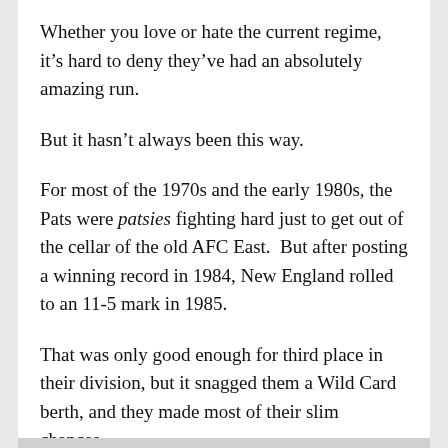Whether you love or hate the current regime, it’s hard to deny they’ve had an absolutely amazing run.
But it hasn’t always been this way.
For most of the 1970s and the early 1980s, the Pats were patsies fighting hard just to get out of the cellar of the old AFC East. But after posting a winning record in 1984, New England rolled to an 11-5 mark in 1985.
That was only good enough for third place in their division, but it snagged them a Wild Card berth, and they made most of their slim chances.